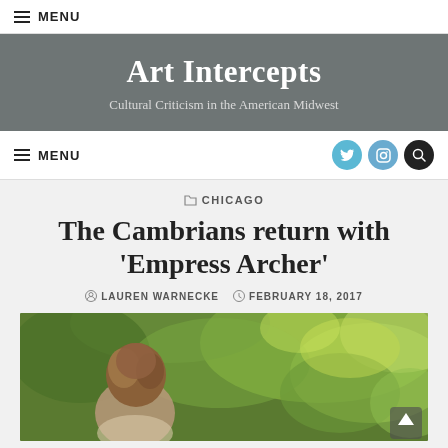MENU
Art Intercepts
Cultural Criticism in the American Midwest
MENU
CHICAGO
The Cambrians return with 'Empress Archer'
LAUREN WARNECKE   FEBRUARY 18, 2017
[Figure (photo): Person with curly brown hair outdoors among green foliage, soft focus background]